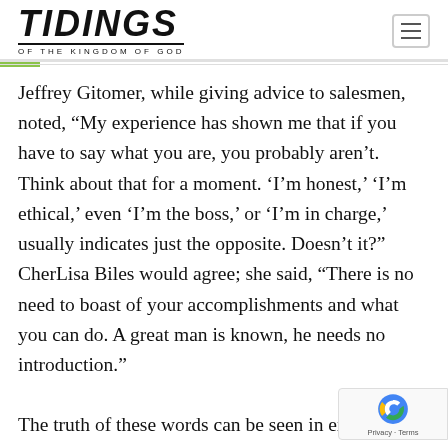TIDINGS OF THE KINGDOM OF GOD
Jeffrey Gitomer, while giving advice to salesmen, noted, “My experience has shown me that if you have to say what you are, you probably aren’t. Think about that for a moment. ‘I’m honest,’ ‘I’m ethical,’ even ‘I’m the boss,’ or ‘I’m in charge,’ usually indicates just the opposite. Doesn’t it?” CherLisa Biles would agree; she said, “There is no need to boast of your accomplishments and what you can do. A great man is known, he needs no introduction.”

The truth of these words can be seen in examples such as the used car dealer call himself “Honest John,” who had a reputation for